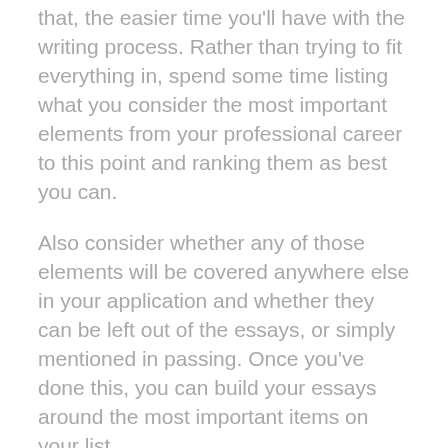that, the easier time you'll have with the writing process. Rather than trying to fit everything in, spend some time listing what you consider the most important elements from your professional career to this point and ranking them as best you can.
Also consider whether any of those elements will be covered anywhere else in your application and whether they can be left out of the essays, or simply mentioned in passing. Once you've done this, you can build your essays around the most important items on your list.
As you brainstorm and ultimately write, keep the overall purpose of these essays in mind. And what is that purpose? Simple: to give the reader a better, more personal